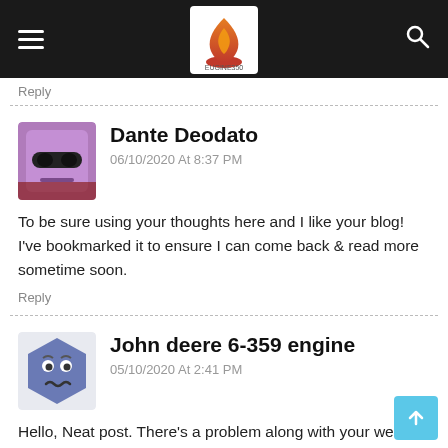EUGINE350 blog header with hamburger menu, logo, and search icon
Reply
Dante Deodato
06/10/2020 At 8:37 PM
To be sure using your thoughts here and I like your blog! I've bookmarked it to ensure I can come back & read more sometime soon.
Reply
John deere 6-359 engine
05/10/2020 At 2:41 PM
Hello, Neat post. There's a problem along with your web site in web explorer, could check this… IE nonetheless is the market leader and a big component to people will omit your excellent writing because of this problem.